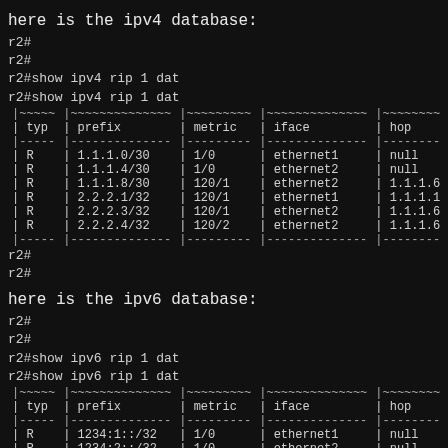here is the ipv4 database:
r2#
r2#
r2#show ipv4 rip 1 dat
r2#show ipv4 rip 1 dat
| typ | prefix | metric | iface | hop | time |
| --- | --- | --- | --- | --- | --- |
| R | 1.1.1.0/30 | 1/0 | ethernet1 | null | 00:0 |
| R | 1.1.1.4/30 | 1/0 | ethernet2 | null | 00:0 |
| R | 1.1.1.8/30 | 120/1 | ethernet2 | 1.1.1.6 | 00:0 |
| R | 2.2.2.1/32 | 120/1 | ethernet1 | 1.1.1.1 | 00:0 |
| R | 2.2.2.3/32 | 120/1 | ethernet2 | 1.1.1.6 | 00:0 |
| R | 2.2.2.4/32 | 120/2 | ethernet2 | 1.1.1.6 | 00:0 |
r2#
r2#
here is the ipv6 database:
r2#
r2#
r2#show ipv6 rip 1 dat
r2#show ipv6 rip 1 dat
| typ | prefix | metric | iface | hop | t |
| --- | --- | --- | --- | --- | --- |
| R | 1234:1::/32 | 1/0 | ethernet1 | null | 0 |
| R | 1234:2::/32 | 1/0 | ethernet2 | null |  |